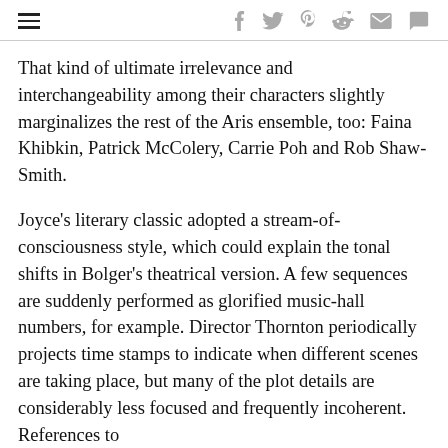Navigation and social share icons
That kind of ultimate irrelevance and interchangeability among their characters slightly marginalizes the rest of the Aris ensemble, too: Faina Khibkin, Patrick McColery, Carrie Poh and Rob Shaw-Smith.
Joyce’s literary classic adopted a stream-of-consciousness style, which could explain the tonal shifts in Bolger’s theatrical version. A few sequences are suddenly performed as glorified music-hall numbers, for example. Director Thornton periodically projects time stamps to indicate when different scenes are taking place, but many of the plot details are considerably less focused and frequently incoherent. References to